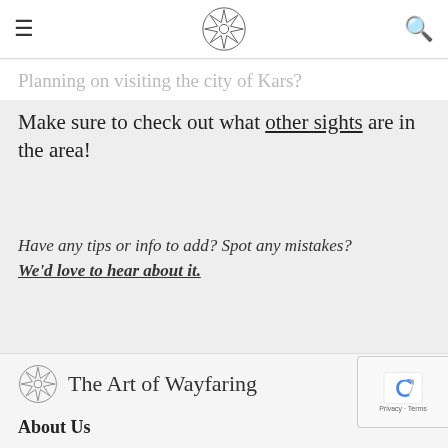Planning on visiting the city of Kars?
Make sure to check out what other sights are in the area!
Have any tips or info to add? Spot any mistakes? We'd love to hear about it.
The Art of Wayfaring
About Us